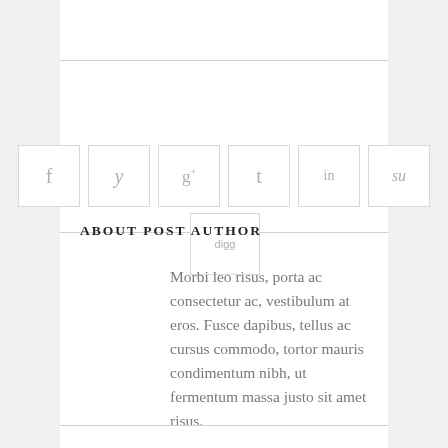[Figure (infographic): Social media share icons in outlined boxes: Facebook (f), Twitter (bird/y), Google+ (g+), Tumblr (t), LinkedIn (in), StumbleUpon (su); and a Digg box below centered with a horizontal rule through it]
ABOUT POST AUTHOR
Morbi leo risus, porta ac consectetur ac, vestibulum at eros. Fusce dapibus, tellus ac cursus commodo, tortor mauris condimentum nibh, ut fermentum massa justo sit amet risus.